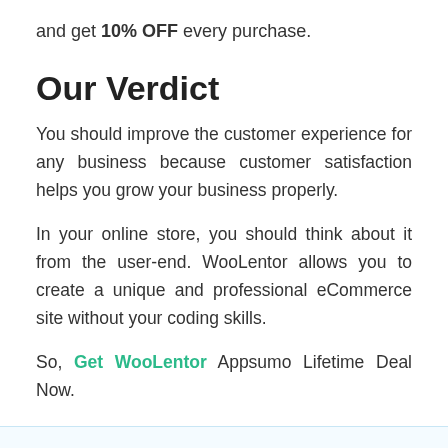and get 10% OFF every purchase.
Our Verdict
You should improve the customer experience for any business because customer satisfaction helps you grow your business properly.
In your online store, you should think about it from the user-end. WooLentor allows you to create a unique and professional eCommerce site without your coding skills.
So, Get WooLentor Appsumo Lifetime Deal Now.